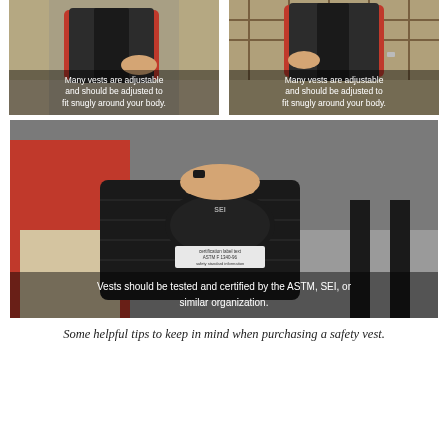[Figure (photo): A person in a red shirt adjusting a black safety vest on the left side, with a stone wall background. Overlay text: 'Many vests are adjustable and should be adjusted to fit snugly around your body.']
[Figure (photo): A person in a red shirt adjusting a black safety vest on the right side, with a fence background. Overlay text: 'Many vests are adjustable and should be adjusted to fit snugly around your body.']
[Figure (photo): Close-up of a hand holding the inside label of a black equestrian safety vest showing SEI certification label. Overlay text: 'Vests should be tested and certified by the ASTM, SEI, or similar organization.']
Some helpful tips to keep in mind when purchasing a safety vest.